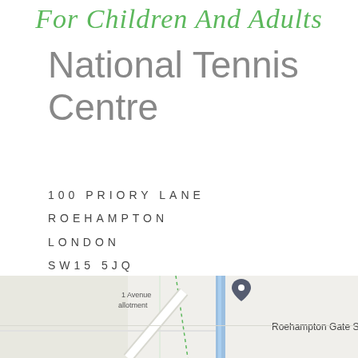For Children And Adults
National Tennis Centre
100 PRIORY LANE
ROEHAMPTON
LONDON
SW15 5JQ
[Figure (map): Google Maps screenshot showing the location of National Tennis Centre at 100 Priory Lane, Roehampton. Shows a map pin marker, streets, and a label reading 'Roehampton Gate S' partially visible on the right side. Also shows '1 Avenue' and 'allotment' labels on the left.]